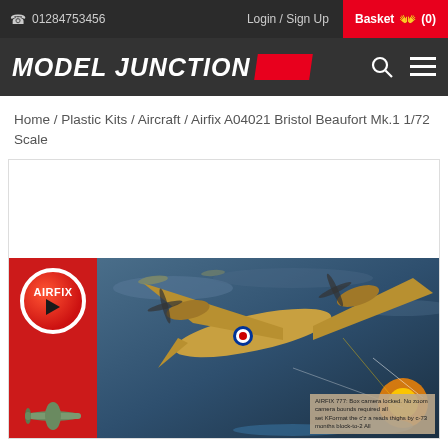☎ 01284753456   Login / Sign Up   Basket (0)
[Figure (logo): MODEL JUNCTION logo with red brushstroke graphic, search icon and hamburger menu]
Home / Plastic Kits / Aircraft / Airfix A04021 Bristol Beaufort Mk.1 1/72 Scale
[Figure (photo): Airfix A04021 Bristol Beaufort Mk.1 product box art showing WWII aircraft in combat scene with Airfix logo on red panel, small plane silhouette, and box art caption text]